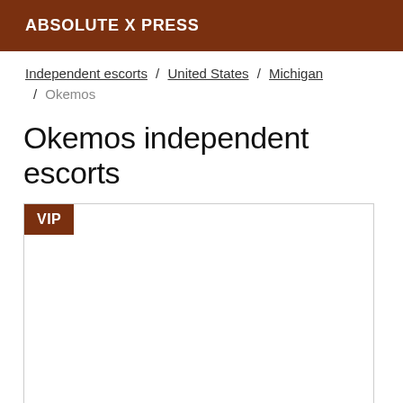ABSOLUTE X PRESS
Independent escorts / United States / Michigan / Okemos
Okemos independent escorts
[Figure (other): Listing card with VIP badge in upper left corner, empty white content area with a border]